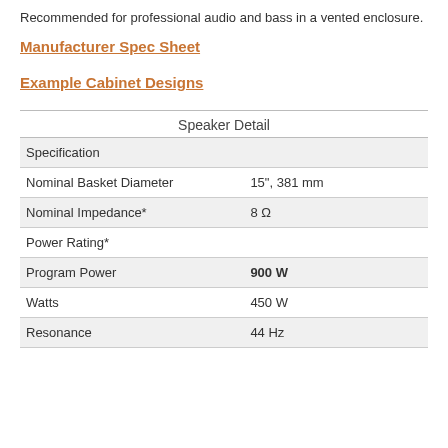Recommended for professional audio and bass in a vented enclosure.
Manufacturer Spec Sheet
Example Cabinet Designs
| Specification |  |
| --- | --- |
| Nominal Basket Diameter | 15", 381 mm |
| Nominal Impedance* | 8 Ω |
| Power Rating* |  |
| Program Power | 900 W |
| Watts | 450 W |
| Resonance | 44 Hz |